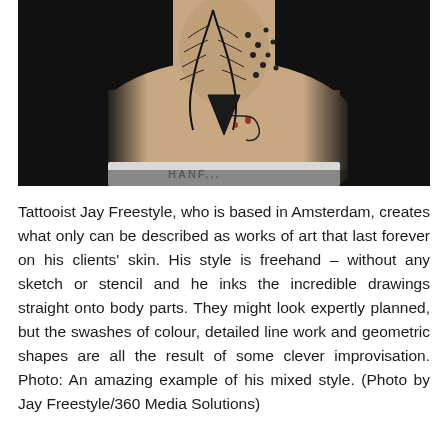[Figure (photo): Close-up photograph of a person's torso/neck area featuring an elaborate freehand tattoo with feathers, geometric shapes, and intricate line work in black ink. The tattoo is on pale skin. A white waistband with 'HANF...' text is visible at the bottom of the photo. Background is dark/black.]
Tattooist Jay Freestyle, who is based in Amsterdam, creates what only can be described as works of art that last forever on his clients' skin. His style is freehand – without any sketch or stencil and he inks the incredible drawings straight onto body parts. They might look expertly planned, but the swashes of colour, detailed line work and geometric shapes are all the result of some clever improvisation. Photo: An amazing example of his mixed style. (Photo by Jay Freestyle/360 Media Solutions)